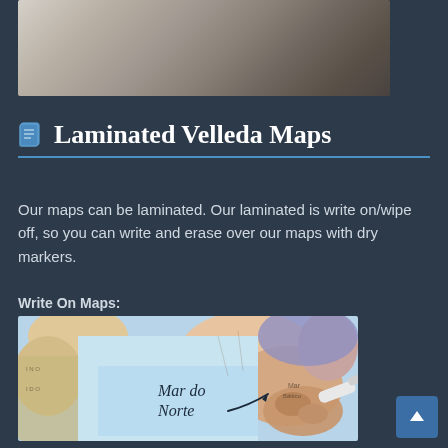[Figure (photo): Top portion of a photo showing laminated map or flooring material in grey/beige tones, cropped at top of page]
Laminated Velleda Maps
Our maps can be laminated. Our laminated is write on/wipe off, so you can write and erase over our maps with dry markers.
Write On Maps:
[Figure (photo): Photo of a hand holding a white dry-erase marker writing on a laminated world map, showing 'Mar do Norte' text with an arrow annotation]